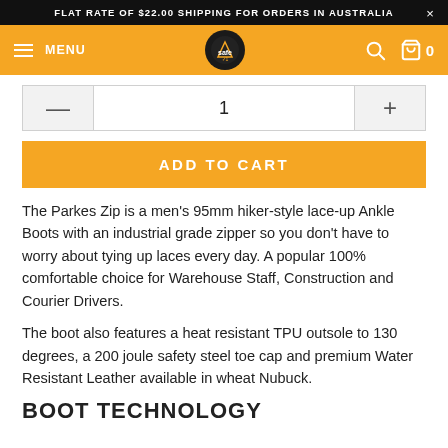FLAT RATE OF $22.00 SHIPPING FOR ORDERS IN AUSTRALIA  ×
MENU  [logo]  [search] [cart] 0
1
ADD TO CART
The Parkes Zip is a men's 95mm hiker-style lace-up Ankle Boots with an industrial grade zipper so you don't have to worry about tying up laces every day. A popular 100% comfortable choice for Warehouse Staff, Construction and Courier Drivers.
The boot also features a heat resistant TPU outsole to 130 degrees, a 200 joule safety steel toe cap and premium Water Resistant Leather available in wheat Nubuck.
BOOT TECHNOLOGY